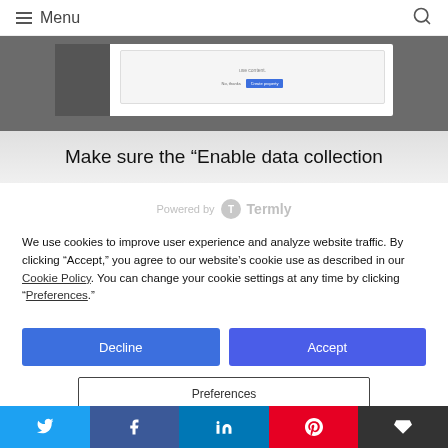Menu
[Figure (screenshot): Partial screenshot of a web application dialog showing 'No, thanks' and 'Create property' buttons on a gray background]
Make sure the “Enable data collection
[Figure (logo): Powered by Termly logo]
We use cookies to improve user experience and analyze website traffic. By clicking “Accept,” you agree to our website’s cookie use as described in our Cookie Policy. You can change your cookie settings at any time by clicking “Preferences.”
Decline
Accept
Preferences
Social share buttons: Twitter, Facebook, LinkedIn, Pinterest, Buffer